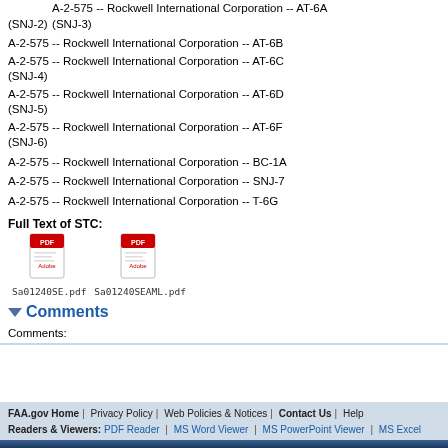(SNJ-2)
A-2-575 -- Rockwell International Corporation -- AT-6A (SNJ-3)
A-2-575 -- Rockwell International Corporation -- AT-6B
A-2-575 -- Rockwell International Corporation -- AT-6C (SNJ-4)
A-2-575 -- Rockwell International Corporation -- AT-6D (SNJ-5)
A-2-575 -- Rockwell International Corporation -- AT-6F (SNJ-6)
A-2-575 -- Rockwell International Corporation -- BC-1A
A-2-575 -- Rockwell International Corporation -- SNJ-7
A-2-575 -- Rockwell International Corporation -- T-6G
Full Text of STC:
[Figure (other): Two PDF file icons labeled Sa01240SE.pdf and Sa01240SEAML.pdf]
Comments
Comments:
FAA.gov Home | Privacy Policy | Web Policies & Notices | Contact Us | Help
Readers & Viewers: PDF Reader | MS Word Viewer | MS PowerPoint Viewer | MS Excel